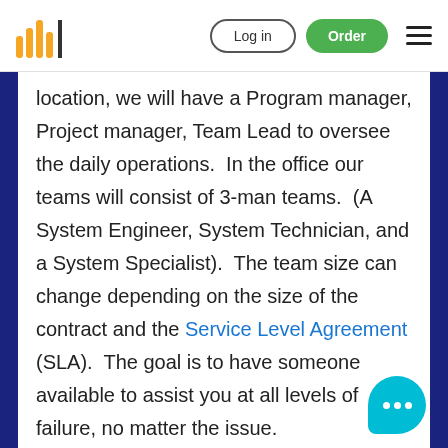Log in | Order
location, we will have a Program manager, Project manager, Team Lead to oversee the daily operations.  In the office our teams will consist of 3-man teams.  (A System Engineer, System Technician, and a System Specialist).  The team size can change depending on the size of the contract and the Service Level Agreement (SLA).  The goal is to have someone available to assist you at all levels of failure, no matter the issue.  Level1:  VTC Specialist         VoIP